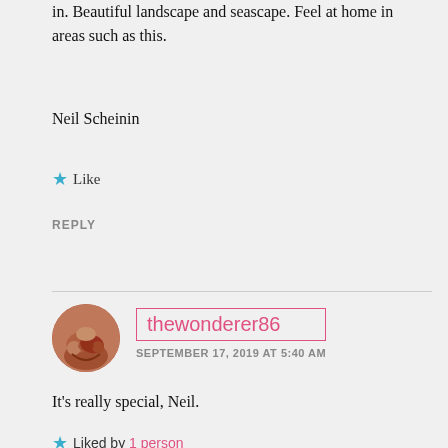in. Beautiful landscape and seascape. Feel at home in areas such as this.
Neil Scheinin
Like
REPLY
thewonderer86
SEPTEMBER 17, 2019 AT 5:40 AM
It's really special, Neil.
Liked by 1 person